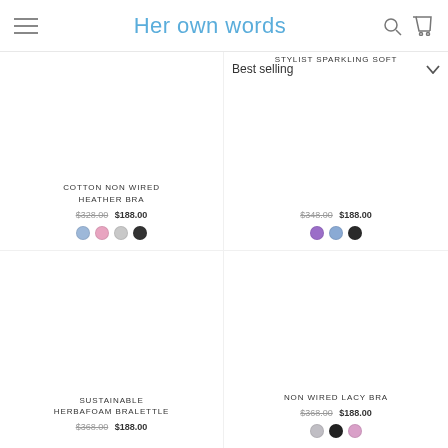Her own words
COTTON NON WIRED HEATHER BRA
$328.00 $188.00
STYLIST SPARKLING SOFT
$348.00 $188.00
Best selling
SUSTAINABLE HERBAFOAM BRALETTLE
$368.00 $188.00
NON WIRED LACY BRA
$368.00 $188.00